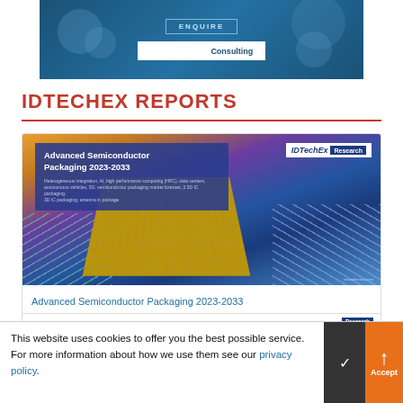[Figure (illustration): IDTechEx Consulting banner with ENQUIRE button, decorative circles on dark blue background]
IDTECHEX REPORTS
[Figure (illustration): Advanced Semiconductor Packaging 2023-2033 report cover image showing a semiconductor chip on a circuit board with IDTechEx Research logo]
Advanced Semiconductor Packaging 2023-2033
This website uses cookies to offer you the best possible service. For more information about how we use them see our privacy policy.